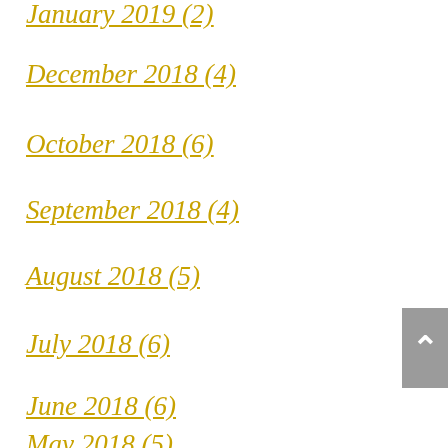January 2019 (2)
December 2018 (4)
October 2018 (6)
September 2018 (4)
August 2018 (5)
July 2018 (6)
June 2018 (6)
May 2018 (5)